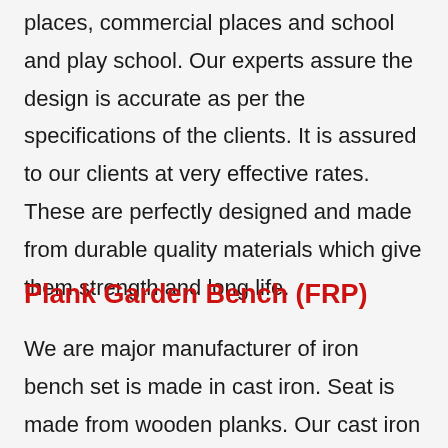places, commercial places and school and play school. Our experts assure the design is accurate as per the specifications of the clients. It is assured to our clients at very effective rates. These are perfectly designed and made from durable quality materials which give them strength and long life.
Plank Garden Bench (FRP)
We are major manufacturer of iron bench set is made in cast iron. Seat is made from wooden planks. Our cast iron is heavy duty and built to last. We are leading supplier of Plank Garden Bench (FRP) that are available